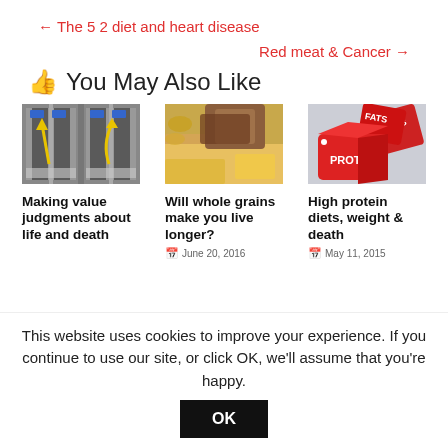← The 5 2 diet and heart disease
Red meat & Cancer →
👍 You May Also Like
[Figure (photo): Road/lane diagram illustration showing two road layouts]
Making value judgments about life and death
[Figure (photo): Various whole grain foods including pasta, bread, seeds]
Will whole grains make you live longer?
June 20, 2016
[Figure (photo): Red dice showing FATS, CARBS, PROTEIN text]
High protein diets, weight & death
May 11, 2015
This website uses cookies to improve your experience. If you continue to use our site, or click OK, we'll assume that you're happy.